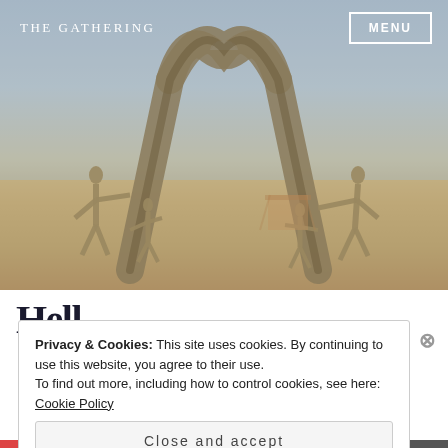[Figure (photo): Outdoor desert sculpture at Burning Man: large metallic heart-shaped arch with four human figures (two adults and two children) appearing to hold it up, set against a bright desert sky with flat playa background.]
THE GATHERING
MENU
Hell...
Privacy & Cookies: This site uses cookies. By continuing to use this website, you agree to their use.
To find out more, including how to control cookies, see here: Cookie Policy
Close and accept